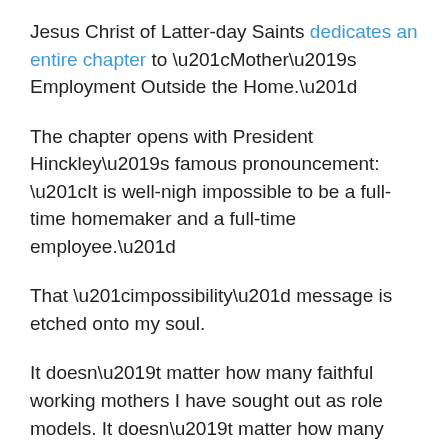Jesus Christ of Latter-day Saints dedicates an entire chapter to “Mother’s Employment Outside the Home.”
The chapter opens with President Hinckley’s famous pronouncement: “It is well-nigh impossible to be a full-time homemaker and a full-time employee.”
That “impossibility” message is etched onto my soul.
It doesn’t matter how many faithful working mothers I have sought out as role models. It doesn’t matter how many children of working mothers I have seen blossom into happy and confident adults. It doesn’t matter how many academic studies and literary summaries I’ve read about a mother’s education and a mother’s career being one of the top global predictors of child success. It doesn’t matter